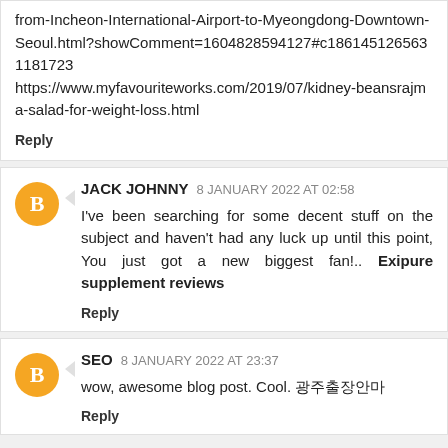from-Incheon-International-Airport-to-Myeongdong-Downtown-Seoul.html?showComment=1604828594127#c1861451265631181723
https://www.myfavouriteworks.com/2019/07/kidney-beansrajma-salad-for-weight-loss.html
Reply
JACK JOHNNY 8 JANUARY 2022 AT 02:58
I've been searching for some decent stuff on the subject and haven't had any luck up until this point, You just got a new biggest fan!.. Exipure supplement reviews
Reply
SEO 8 JANUARY 2022 AT 23:37
wow, awesome blog post. Cool. 광주출장안마
Reply